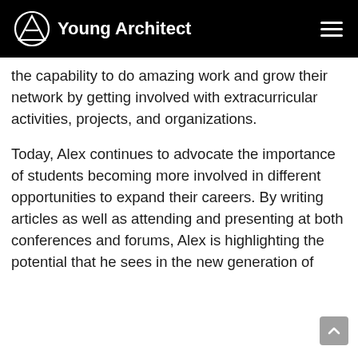Young Architect
the capability to do amazing work and grow their network by getting involved with extracurricular activities, projects, and organizations.
Today, Alex continues to advocate the importance of students becoming more involved in different opportunities to expand their careers. By writing articles as well as attending and presenting at both conferences and forums, Alex is highlighting the potential that he sees in the new generation of architects. As Co-Chair of the Emerging New...